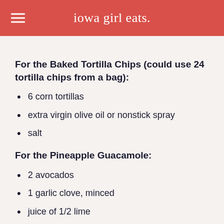iowa girl eats.
For the Baked Tortilla Chips (could use 24 tortilla chips from a bag):
6 corn tortillas
extra virgin olive oil or nonstick spray
salt
For the Pineapple Guacamole:
2 avocados
1 garlic clove, minced
juice of 1/2 lime
1 Tablespoon chopped cilantro
1/4 cup pineapple tidbits, drained